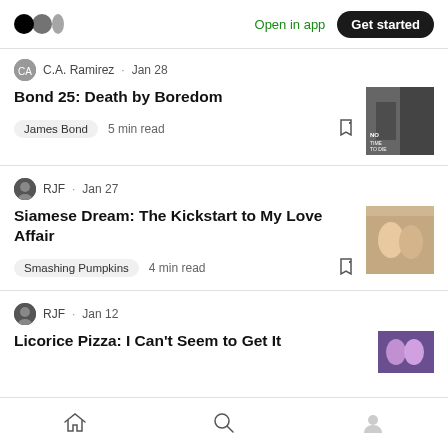Medium logo | Open in app | Get started
C.A. Ramirez · Jan 28
Bond 25: Death by Boredom
James Bond  5 min read
RJF · Jan 27
Siamese Dream: The Kickstart to My Love Affair
Smashing Pumpkins  4 min read
RJF · Jan 12
Licorice Pizza: I Can't Seem to Get It
Home | Search | Profile